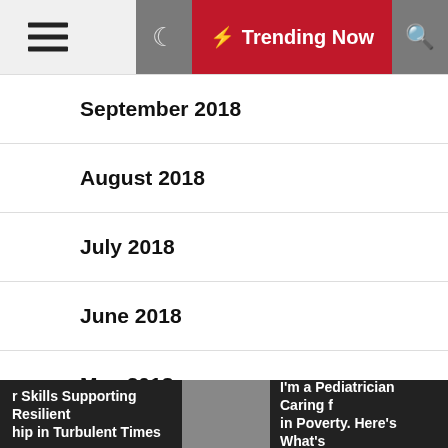Trending Now
September 2018
August 2018
July 2018
June 2018
May 2018
April 2018
March 2018
r Skills Supporting Resilient hip in Turbulent Times | I'm a Pediatrician Caring f in Poverty. Here's What's